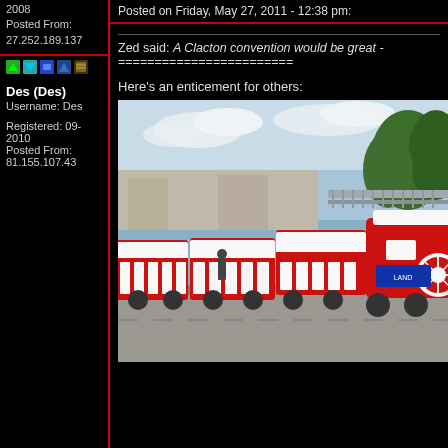2008
Posted From: 27.252.189.137
Posted on Friday, May 27, 2011 - 12:38 pm:
[Figure (other): User icons/action buttons row]
Des (Des)
Username: Des
Registered: 09-2010
Posted From: 81.155.107.43
Zed said: A Clacton convention would be great - ========================
Here's an enticement for others:
[Figure (photo): A red and white tourist land train parked on a seafront promenade in Clacton, with trees and a railing visible in the background.]